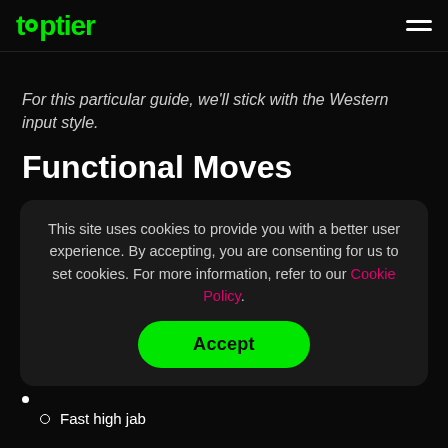toptier
For this particular guide, we'll stick with the Western input style.
Functional Moves
This site uses cookies to provide you with a better user experience. By accepting, you are consenting for us to set cookies. For more information, refer to our Cookie Policy.
Fast high jab